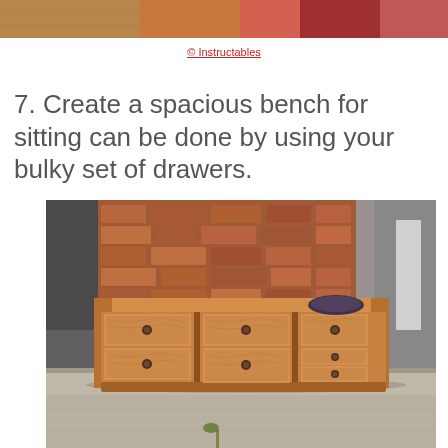[Figure (photo): Top strip showing partial colorful photo from previous page content]
© Instructables
7. Create a spacious bench for sitting can be done by using your bulky set of drawers.
[Figure (photo): Photo of a wooden dresser with multiple drawers placed outdoors on a concrete surface, with a brick wall behind it]